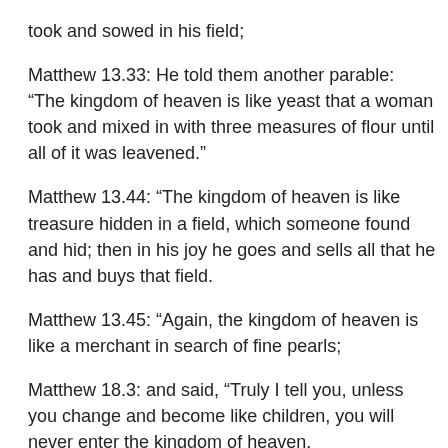took and sowed in his field;
Matthew 13.33: He told them another parable: “The kingdom of heaven is like yeast that a woman took and mixed in with three measures of flour until all of it was leavened.”
Matthew 13.44: “The kingdom of heaven is like treasure hidden in a field, which someone found and hid; then in his joy he goes and sells all that he has and buys that field.
Matthew 13.45: “Again, the kingdom of heaven is like a merchant in search of fine pearls;
Matthew 18.3: and said, “Truly I tell you, unless you change and become like children, you will never enter the kingdom of heaven.